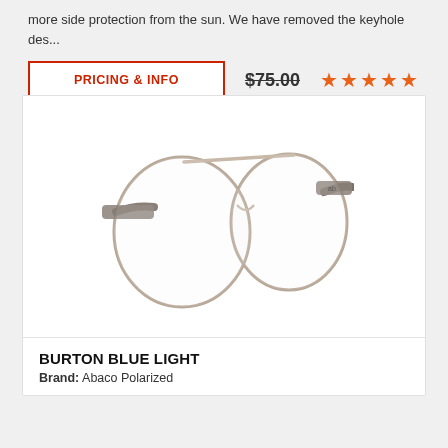more side protection from the sun. We have removed the keyhole des...
PRICING & INFO
$75.00
[Figure (photo): A pair of round metal-frame glasses with gray/brown wooden or leather temple arms, shown at an angle against a white background. The frames are thin silver metal with large circular lenses.]
BURTON BLUE LIGHT
Brand: Abaco Polarized